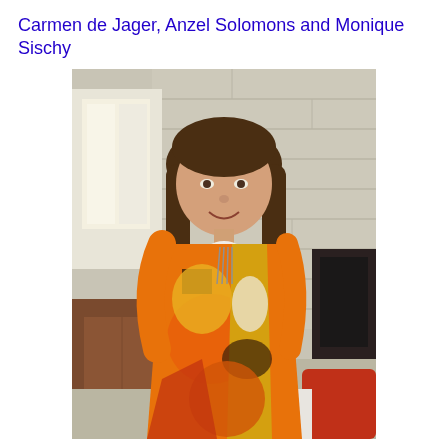Carmen de Jager, Anzel Solomons and Monique Sischy
[Figure (photo): A young woman with long brown hair, smiling, wearing a colorful geometric-patterned orange, yellow, and brown top. She is standing/sitting in an interior room with a stone/tile wall background, a brown leather sofa visible on the left, and a fireplace area on the right. There is a red cushion visible in the lower right.]